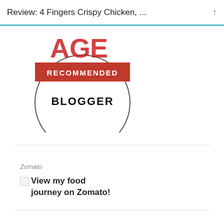Review: 4 Fingers Crispy Chicken, ...
[Figure (logo): Circular badge with red 'RECOMMENDED' banner across center and 'BLOGGER' text below, partial view of letters at top]
Zomato
View my food journey on Zomato!